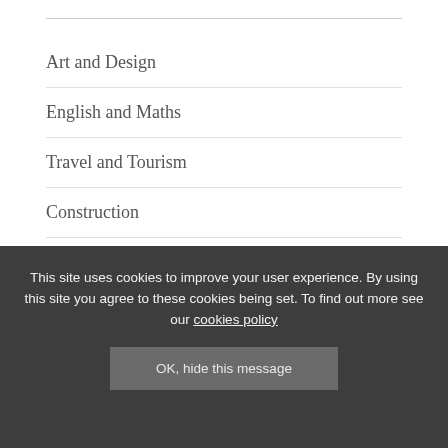Art and Design
English and Maths
Travel and Tourism
Construction
Hospitality and Catering
This site uses cookies to improve your user experience. By using this site you agree to these cookies being set. To find out more see our cookies policy
OK, hide this message